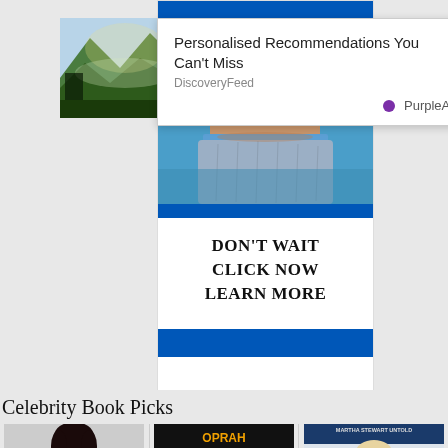[Figure (screenshot): Landscape mountain scene thumbnail on left side of page]
[Figure (photo): Advertisement banner showing a person in gray shorts near a blue pool, with text DON'T WAIT CLICK NOW LEARN MORE and blue bars at top and bottom]
[Figure (screenshot): Popup overlay: Personalised Recommendations You Can't Miss, DiscoveryFeed, PurpleAds branding with close button]
Celebrity Book Picks
[Figure (photo): Book pick 1: Woman with dark hair celebrity photo]
[Figure (photo): Book pick 2: OPRAH QUEEN OF MEDIA - HOW SHE EARNS BILLIONS book cover]
[Figure (photo): Book pick 3: MARTHA STEWART UNTOLD book cover with Martha Stewart photo]